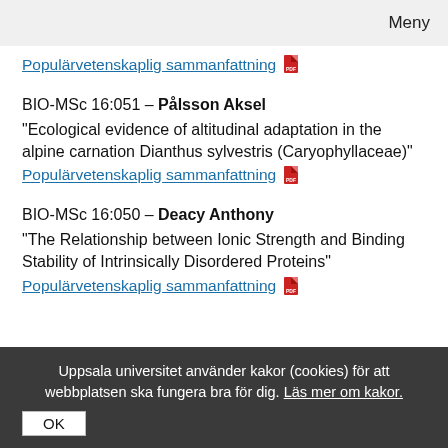Meny
Populärvetenskaplig sammanfattning [PDF icon]
BIO-MSc 16:051 – Pålsson Aksel
"Ecological evidence of altitudinal adaptation in the alpine carnation Dianthus sylvestris (Caryophyllaceae)"
Populärvetenskaplig sammanfattning [PDF icon]
BIO-MSc 16:050 – Deacy Anthony
"The Relationship between Ionic Strength and Binding Stability of Intrinsically Disordered Proteins"
Populärvetenskaplig sammanfattning [PDF icon]
Uppsala universitet använder kakor (cookies) för att webbplatsen ska fungera bra för dig. Läs mer om kakor.
OK